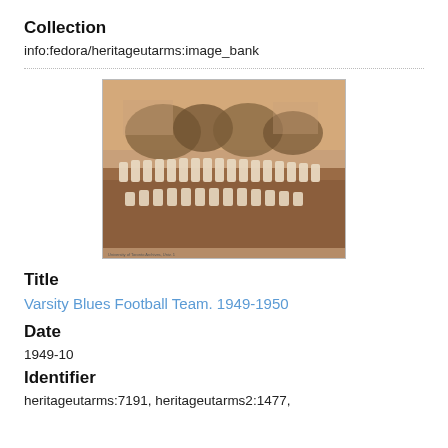Collection
info:fedora/heritageutarms:image_bank
[Figure (photo): Sepia-toned group photograph of the Varsity Blues Football Team, 1949-1950, showing two rows of players in white uniforms posing on a field with trees and a building in the background.]
Title
Varsity Blues Football Team. 1949-1950
Date
1949-10
Identifier
heritageutarms:7191, heritageutarms2:1477,